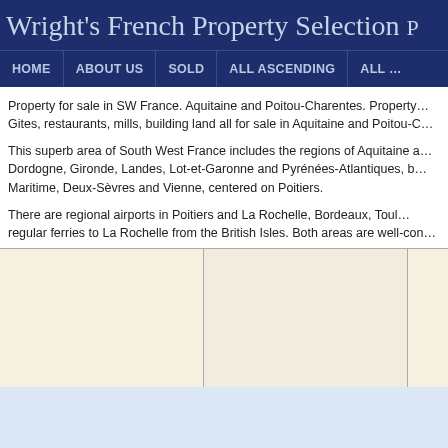Wright's French Property Selection P…
HOME | ABOUT US | SOLD | ALL ASCENDING | ALL…
Property for sale in SW France. Aquitaine and Poitou-Charentes. Property… Gites, restaurants, mills, building land all for sale in Aquitaine and Poitou-C…
This superb area of South West France includes the regions of Aquitaine a… Dordogne, Gironde, Landes, Lot-et-Garonne and Pyrénées-Atlantiques, b… Maritime, Deux-Sèvres and Vienne, centered on Poitiers.
There are regional airports in Poitiers and La Rochelle, Bordeaux, Toul… regular ferries to La Rochelle from the British Isles. Both areas are well-con…
[Figure (photo): Property image placeholder - beige/cream background cell]
[Figure (photo): Property image placeholder - beige/cream background cell]
[Figure (photo): Property image placeholder - beige/cream background cell (partially visible)]